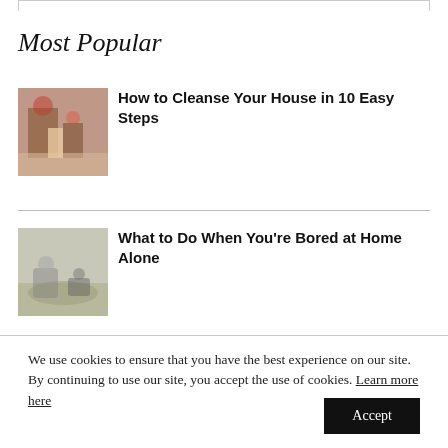Most Popular
[Figure (photo): Photo of a child in a holiday-decorated indoor setting]
How to Cleanse Your House in 10 Easy Steps
[Figure (photo): Photo of a child playing on the floor with animals or toys]
What to Do When You're Bored at Home Alone
We use cookies to ensure that you have the best experience on our site. By continuing to use our site, you accept the use of cookies. Learn more here